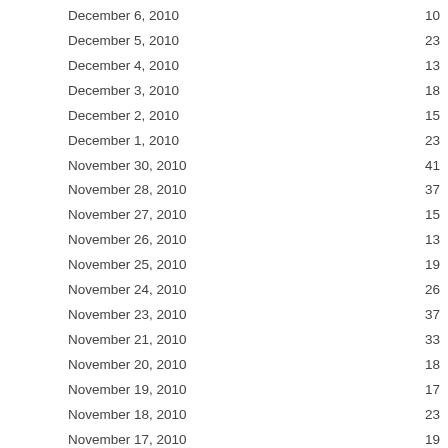| Date | Value |
| --- | --- |
| December 6, 2010 | 10 |
| December 5, 2010 | 23 |
| December 4, 2010 | 13 |
| December 3, 2010 | 18 |
| December 2, 2010 | 15 |
| December 1, 2010 | 23 |
| November 30, 2010 | 41 |
| November 28, 2010 | 37 |
| November 27, 2010 | 15 |
| November 26, 2010 | 13 |
| November 25, 2010 | 19 |
| November 24, 2010 | 26 |
| November 23, 2010 | 37 |
| November 21, 2010 | 33 |
| November 20, 2010 | 18 |
| November 19, 2010 | 17 |
| November 18, 2010 | 23 |
| November 17, 2010 | 19 |
| November 16, 2010 | 40 |
| November 14, 2010 | 37 |
| November 13, 2010 | 23 |
| November 12, 2010 | 33 |
| November 11, 2010 | 35 |